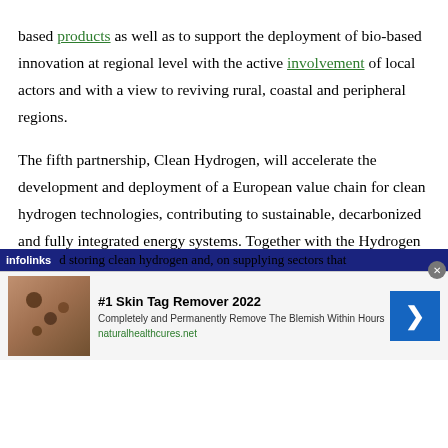based products as well as to support the deployment of bio-based innovation at regional level with the active involvement of local actors and with a view to reviving rural, coastal and peripheral regions.
The fifth partnership, Clean Hydrogen, will accelerate the development and deployment of a European value chain for clean hydrogen technologies, contributing to sustainable, decarbonized and fully integrated energy systems. Together with the Hydrogen Alliance, it will contribute to the achievement of the Union's objectives put forward in the EU hydrogen strategy for a climate-neutral Europe. It will focus on producing, distributing and storing clean hydrogen and, on supplying sectors that
[Figure (other): Infolinks advertisement overlay bar and ad unit for '#1 Skin Tag Remover 2022' from naturalhealthcures.net]